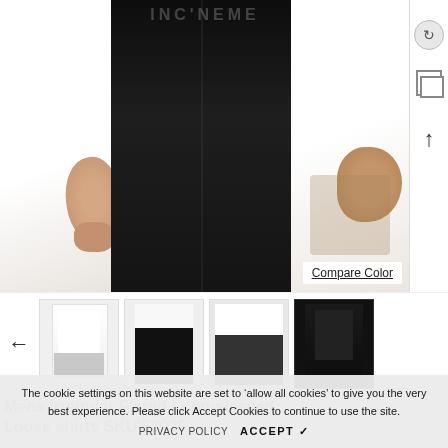[Figure (photo): Main product photo showing a man wearing a white long-sleeved shirt with black trousers, cropped at torso level. Watermark text partially visible at top.]
Compare Color
[Figure (photo): Thumbnail 1: White shirt front view]
[Figure (photo): Thumbnail 2: White shirt with black pants back view]
[Figure (photo): Thumbnail 3: White shirt with dark vest]
[Figure (photo): Thumbnail 4: Black shirt front view]
Mens Irregular Flared Long-sleeved Loose shirts SKUI53025
The cookie settings on this website are set to 'allow all cookies' to give you the very best experience. Please click Accept Cookies to continue to use the site.
PRIVACY POLICY
ACCEPT ✔